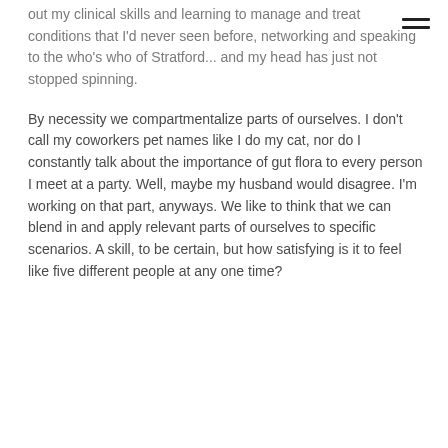≡ (menu icon)
out my clinical skills and learning to manage and treat conditions that I'd never seen before, networking and speaking to the who's who of Stratford... and my head has just not stopped spinning.
By necessity we compartmentalize parts of ourselves. I don't call my coworkers pet names like I do my cat, nor do I constantly talk about the importance of gut flora to every person I meet at a party. Well, maybe my husband would disagree. I'm working on that part, anyways. We like to think that we can blend in and apply relevant parts of ourselves to specific scenarios. A skill, to be certain, but how satisfying is it to feel like five different people at any one time?